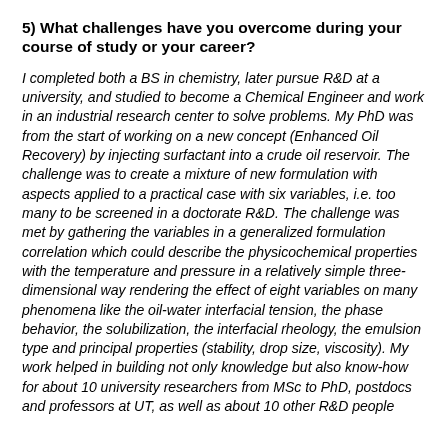5) What challenges have you overcome during your course of study or your career?
I completed both a BS in chemistry, later pursue R&D at a university, and studied to become a Chemical Engineer and work in an industrial research center to solve problems. My PhD was from the start of working on a new concept (Enhanced Oil Recovery) by injecting surfactant into a crude oil reservoir. The challenge was to create a mixture of new formulation with aspects applied to a practical case with six variables, i.e. too many to be screened in a doctorate R&D. The challenge was met by gathering the variables in a generalized formulation correlation which could describe the physicochemical properties with the temperature and pressure in a relatively simple three-dimensional way rendering the effect of eight variables on many phenomena like the oil-water interfacial tension, the phase behavior, the solubilization, the interfacial rheology, the emulsion type and principal properties (stability, drop size, viscosity). My work helped in building not only knowledge but also know-how for about 10 university researchers from MSc to PhD, postdocs and professors at UT, as well as about 10 other R&D people